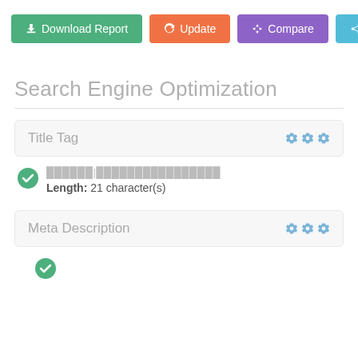Download Report | Update | Compare | Share
Search Engine Optimization
Title Tag
██████|████████████████  Length: 21 character(s)
Meta Description